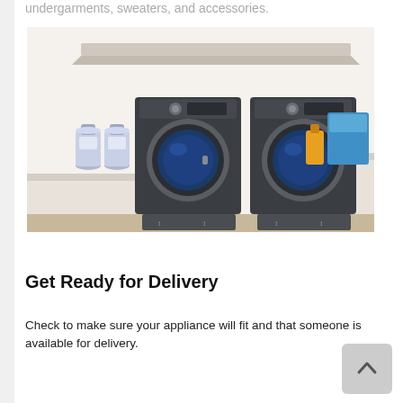undergarments, sweaters, and accessories.
[Figure (illustration): Illustration of a laundry room with two front-load washing machines or dryers side by side on pedestals, detergent bottles on the left, and laundry supplies on a counter to the right, with a shelf above.]
Get Ready for Delivery
Check to make sure your appliance will fit and that someone is available for delivery.